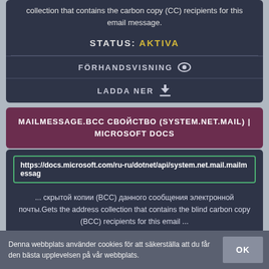collection that contains the carbon copy (CC) recipients for this email message.
STATUS: AKTIVA
FÖRHANDSVISNING
LADDA NER
MAILMESSAGE.BCC СВОЙСТВО (SYSTEM.NET.MAIL) | MICROSOFT DOCS
https://docs.microsoft.com/ru-ru/dotnet/api/system.net.mail.mailmessag
... скрытой копии (BCC) данного сообщения электронной почты.Gets the address collection that contains the blind carbon copy (BCC) recipients for this email ...
Denna webbplats använder cookies för att säkerställa att du får den bästa upplevelsen på vår webbplats.